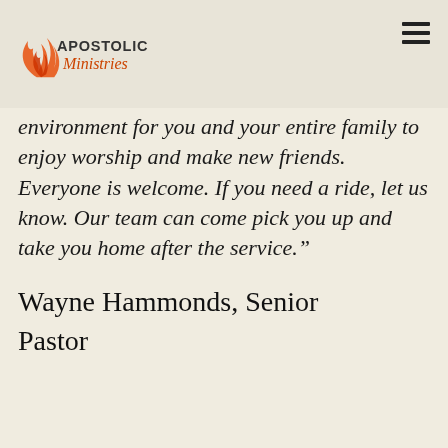[Figure (logo): Apostolic Ministries logo with flame icon and stylized text]
environment for you and your entire family to enjoy worship and make new friends. Everyone is welcome. If you need a ride, let us know. Our team can come pick you up and take you home after the service.”
Wayne Hammonds, Senior Pastor